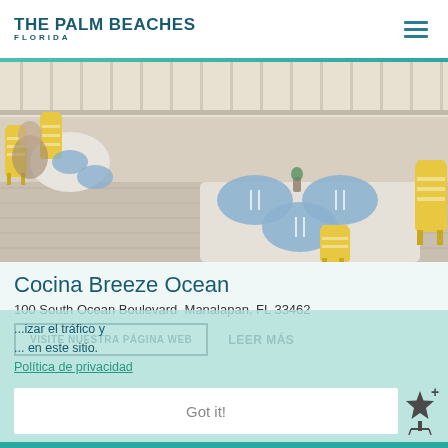THE PALM BEACHES FLORIDA
[Figure (photo): Outdoor restaurant terrace with white tables set with blue round placemats and yellow striped chairs on a wooden deck]
Cocina Breeze Ocean
100 South Ocean Boulevard  Manalapan, FL 33462
VISITE NUESTRA PÁGINA WEB
LEER MÁS
...izar el tráfico y ... en este sitio.
Política de privacidad
Got it!